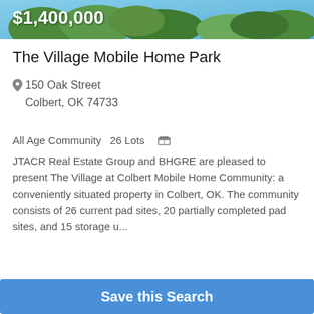[Figure (photo): Aerial photo of mobile home park with green trees, price label $1,400,000 overlaid]
The Village Mobile Home Park
150 Oak Street
Colbert, OK 74733
All Age Community  26 Lots
JTACR Real Estate Group and BHGRE are pleased to present The Village at Colbert Mobile Home Community: a conveniently situated property in Colbert, OK. The community consists of 26 current pad sites, 20 partially completed pad sites, and 15 storage u...
Early Access
Save this Search